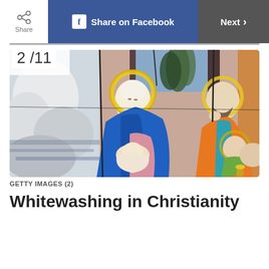Share | Share on Facebook | Next >
2 / 11
[Figure (illustration): Stained glass window depicting the Nativity scene: Mary with a golden halo in blue robes holds the infant Jesus, Joseph behind her with a halo, and two other figures on the right, with a cloudy/rocky background on the left]
GETTY IMAGES (2)
Whitewashing in Christianity